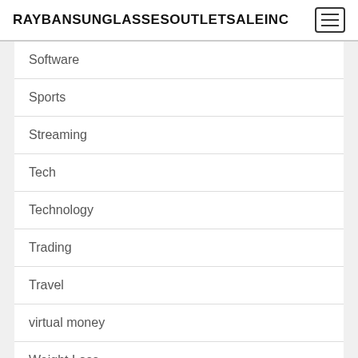RAYBANSUNGLASSESOUTLETSALEINC
Software
Sports
Streaming
Tech
Technology
Trading
Travel
virtual money
Weight Loss